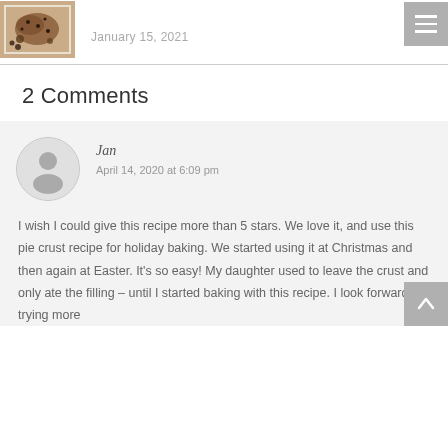January 15, 2021
2 Comments
Jan
April 14, 2020 at 6:09 pm
I wish I could give this recipe more than 5 stars. We love it, and use this pie crust recipe for holiday baking. We started using it at Christmas and then again at Easter. It’s so easy! My daughter used to leave the crust and only ate the filling – until I started baking with this recipe. I look forward to trying more